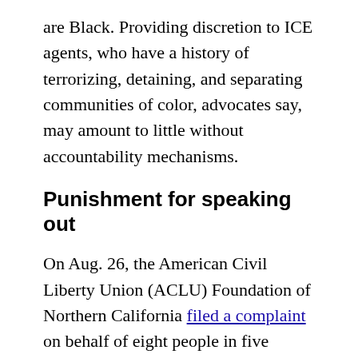are Black. Providing discretion to ICE agents, who have a history of terrorizing, detaining, and separating communities of color, advocates say, may amount to little without accountability mechanisms.
Punishment for speaking out
On Aug. 26, the American Civil Liberty Union (ACLU) Foundation of Northern California filed a complaint on behalf of eight people in five immigration detention centers in California who allegedly endured unlawful retaliation for speaking out against inhumane and life-threatening conditions, including five cases where the harassment occurred under